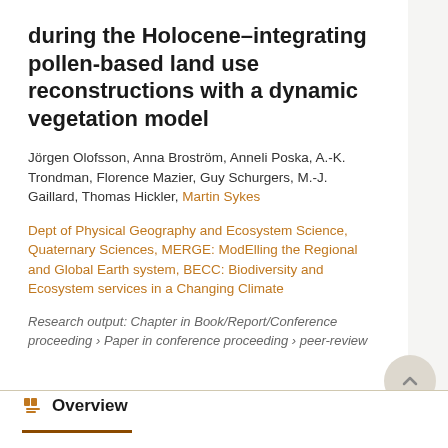during the Holocene–integrating pollen-based land use reconstructions with a dynamic vegetation model
Jörgen Olofsson, Anna Broström, Anneli Poska, A.-K. Trondman, Florence Mazier, Guy Schurgers, M.-J. Gaillard, Thomas Hickler, Martin Sykes
Dept of Physical Geography and Ecosystem Science, Quaternary Sciences, MERGE: ModElling the Regional and Global Earth system, BECC: Biodiversity and Ecosystem services in a Changing Climate
Research output: Chapter in Book/Report/Conference proceeding › Paper in conference proceeding › peer-review
Overview